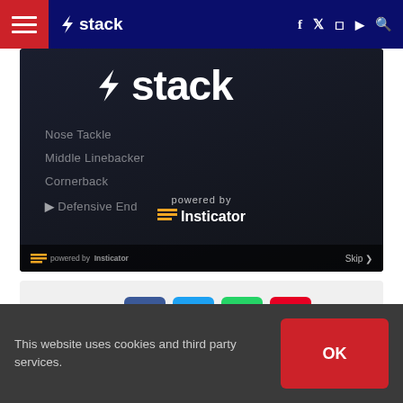stack — navigation header with hamburger menu, social icons (f, Twitter, Instagram, YouTube) and search
[Figure (screenshot): Dark advertisement/interactive quiz overlay showing the Stack logo at top, quiz position options (Nose Tackle, Middle Linebacker, Cornerback, Defensive End), centered 'powered by Insticator' branding, and a Skip button at bottom right.]
[Figure (screenshot): Social share buttons row: Facebook (blue), Twitter (light blue), WhatsApp (green), Pinterest (red)]
This website uses cookies and third party services.
OK